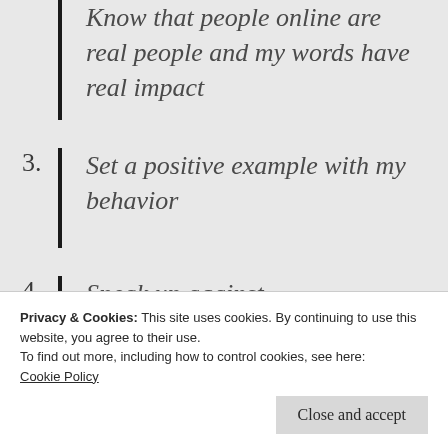Know that people online are real people and my words have real impact
Set a positive example with my behavior
Speak up against discrimination, hate speech, harassment, and abuse
Privacy & Cookies: This site uses cookies. By continuing to use this website, you agree to their use.
To find out more, including how to control cookies, see here: Cookie Policy